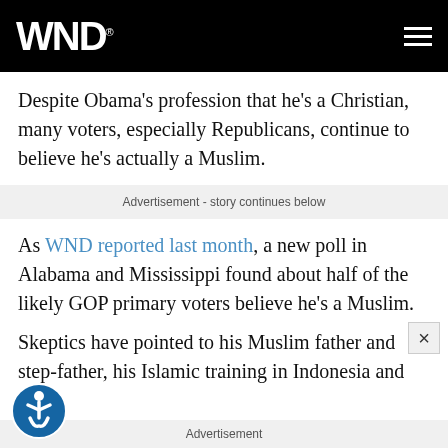WND
Despite Obama's profession that he's a Christian, many voters, especially Republicans, continue to believe he's actually a Muslim.
Advertisement - story continues below
As WND reported last month, a new poll in Alabama and Mississippi found about half of the likely GOP primary voters believe he's a Muslim.
Skeptics have pointed to his Muslim father and step-father, his Islamic training in Indonesia and his
Advertisement